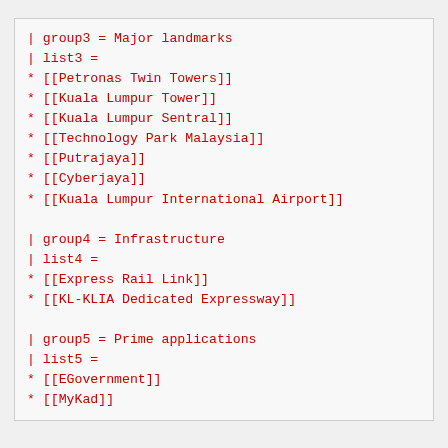| group3 = Major landmarks
| list3 =
* [[Petronas Twin Towers]]
* [[Kuala Lumpur Tower]]
* [[Kuala Lumpur Sentral]]
* [[Technology Park Malaysia]]
* [[Putrajaya]]
* [[Cyberjaya]]
* [[Kuala Lumpur International Airport]]
| group4 = Infrastructure
| list4 =
* [[Express Rail Link]]
* [[KL-KLIA Dedicated Expressway]]
| group5 = Prime applications
| list5 =
* [[EGovernment]]
* [[MyKad]]